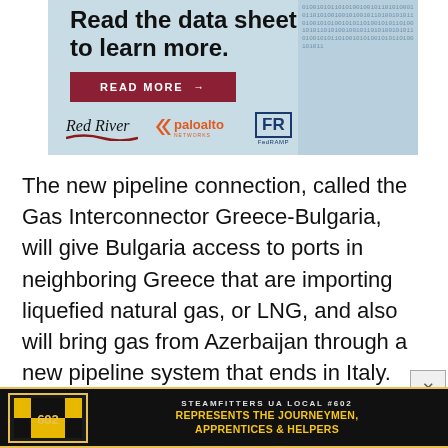[Figure (photo): Advertisement banner for Red River and Palo Alto Networks with text 'Read the data sheet to learn more.' and a READ MORE button, with logos for Red River, paloalto NETWORKS, and FedRAMP.]
The new pipeline connection, called the Gas Interconnector Greece-Bulgaria, will give Bulgaria access to ports in neighboring Greece that are importing liquefied natural gas, or LNG, and also will bring gas from Azerbaijan through a new pipeline system that ends in Italy. Russia announced last month it was cutting off natural gas exports to Bulgaria and Poland over the coun
[Figure (photo): Advertisement banner for Steamfitters UA Local #602 — REPRESENTS THE JOURNEYMEN, APPRENTICES & HELPERS]